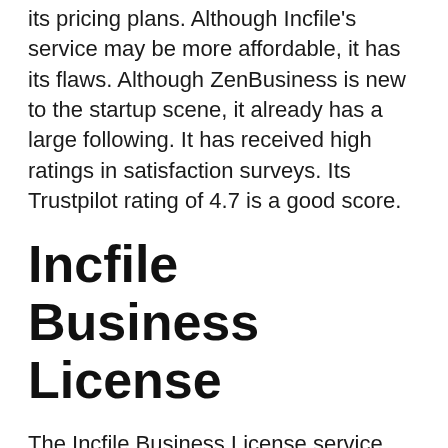its pricing plans. Although Incfile's service may be more affordable, it has its flaws. Although ZenBusiness is new to the startup scene, it already has a large following. It has received high ratings in satisfaction surveys. Its Trustpilot rating of 4.7 is a good score.
Incfile Business License
The Incfile Business License service provides a variety of benefits to its customers, including free organization formation and state filing fees. While other services charge lower fees, Incfile provides an end-to-end service, submitting paperwork to the state on your behalf and sending your completed